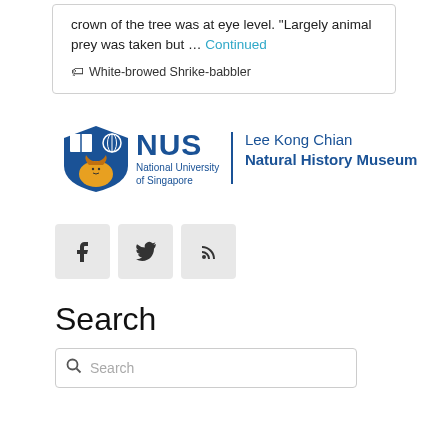crown of the tree was at eye level. "Largely animal prey was taken but … Continued
White-browed Shrike-babbler
[Figure (logo): NUS (National University of Singapore) Lee Kong Chian Natural History Museum logo]
[Figure (infographic): Social media icons: Facebook, Twitter, RSS feed]
Search
Search (input field)